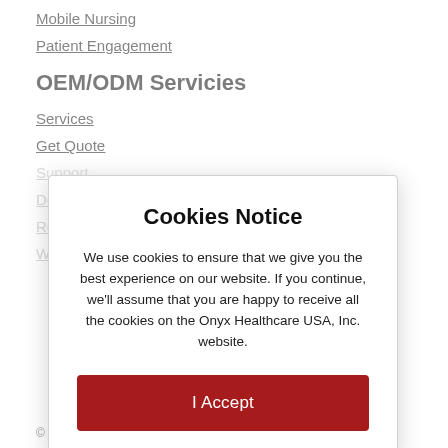Mobile Nursing
Patient Engagement
OEM/ODM Servicies
Services
Get Quote
Support
D...
R...
W...
Cookies Notice
We use cookies to ensure that we give you the best experience on our website. If you continue, we'll assume that you are happy to receive all the cookies on the Onyx Healthcare USA, Inc. website.
I Accept
© ... served.